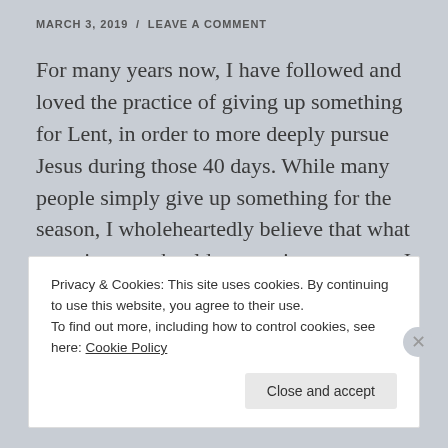MARCH 3, 2019 / LEAVE A COMMENT
For many years now, I have followed and loved the practice of giving up something for Lent, in order to more deeply pursue Jesus during those 40 days. While many people simply give up something for the season, I wholeheartedly believe that what one gives up should cost us in some way. I do not … Continue reading
Privacy & Cookies: This site uses cookies. By continuing to use this website, you agree to their use.
To find out more, including how to control cookies, see here: Cookie Policy
Close and accept